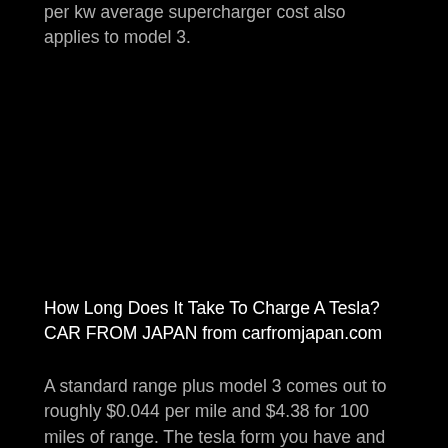per kw average supercharger cost also applies to model 3.
How Long Does It Take To Charge A Tesla? CAR FROM JAPAN from carfromjapan.com
A standard range plus model 3 comes out to roughly $0.044 per mile and $4.38 for 100 miles of range. The tesla form you have and